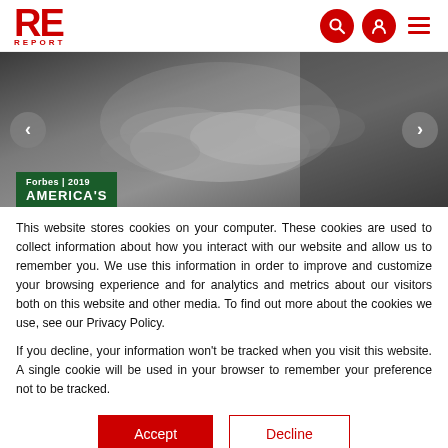RE REPORT
[Figure (photo): Black and white photo of multiple hands stacked together, with a Forbes 2019 America's badge overlay at bottom left. Slideshow navigation arrows on left and right.]
This website stores cookies on your computer. These cookies are used to collect information about how you interact with our website and allow us to remember you. We use this information in order to improve and customize your browsing experience and for analytics and metrics about our visitors both on this website and other media. To find out more about the cookies we use, see our Privacy Policy.
If you decline, your information won't be tracked when you visit this website. A single cookie will be used in your browser to remember your preference not to be tracked.
Accept   Decline